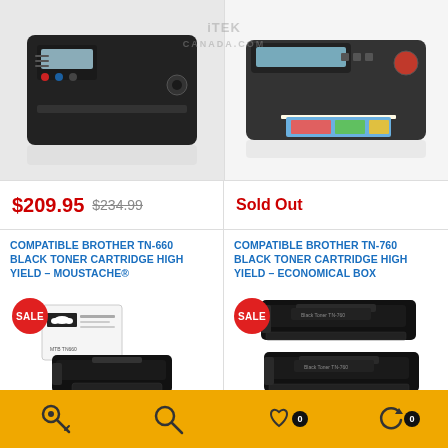[Figure (photo): Black laser printer product photo on grey background]
[Figure (photo): Black inkjet/all-in-one printer with colorful printed pages emerging, watermark itek canada.com visible]
$209.95  $234.99
Sold Out
COMPATIBLE BROTHER TN-660 BLACK TONER CARTRIDGE HIGH YIELD – MOUSTACHE®
[Figure (photo): Compatible Brother TN-660 black toner cartridge with white box, SALE badge]
COMPATIBLE BROTHER TN-760 BLACK TONER CARTRIDGE HIGH YIELD – ECONOMICAL BOX
[Figure (photo): Two Compatible Brother TN-760 black toner cartridges, SALE badge, With Chip/Avec Puce label]
With Chip/Avec Puce